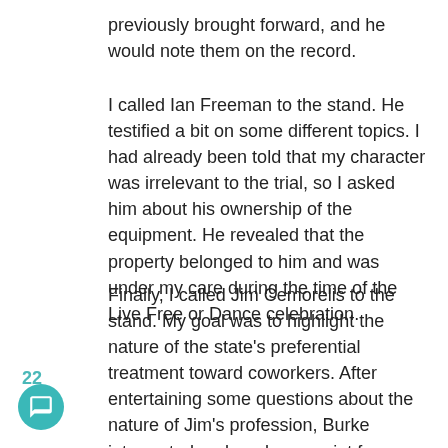previously brought forward, and he would note them on the record.
I called Ian Freeman to the stand. He testified a bit on some different topics. I had already been told that my character was irrelevant to the trial, so I asked him about his ownership of the equipment. He revealed that the property belonged to him and was under my care during the time of the Live Free or Dance celebration.
Finally, I called Jim Cemorelis to the stand. My goal was to highlight the nature of the state's preferential treatment toward coworkers. After entertaining some questions about the nature of Jim's profession, Burke interrupted and made my point for me. He shamelessly explained it was self-evident that the court and the prosecution work together and support each other.